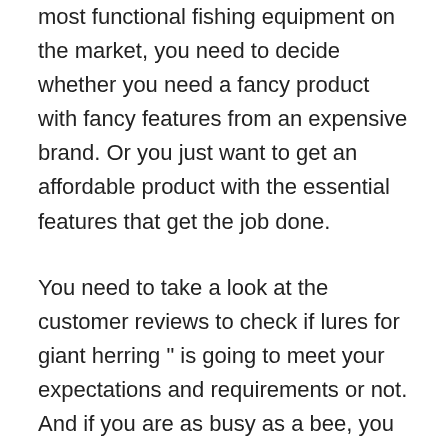All in all, to make sure you buy one of the best and most functional fishing equipment on the market, you need to decide whether you need a fancy product with fancy features from an expensive brand. Or you just want to get an affordable product with the essential features that get the job done.
You need to take a look at the customer reviews to check if lures for giant herring " is going to meet your expectations and requirements or not. And if you are as busy as a bee, you can only take a glance at the pros and cons of the fishing equipment you are willing to buy.
Last but not least, you need to make sure that the seller you will get your product from provides